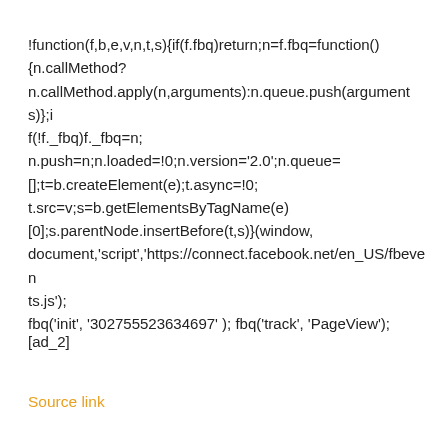!function(f,b,e,v,n,t,s){if(f.fbq)return;n=f.fbq=function() {n.callMethod? n.callMethod.apply(n,arguments):n.queue.push(arguments)};if(!f._fbq)f._fbq=n; n.push=n;n.loaded=!0;n.version='2.0';n.queue= [];t=b.createElement(e);t.async=!0; t.src=v;s=b.getElementsByTagName(e) [0];s.parentNode.insertBefore(t,s)}(window, document,'script','https://connect.facebook.net/en_US/fbevents.js'); fbq('init', '302755523634697' ); fbq('track', 'PageView');
[ad_2]
Source link